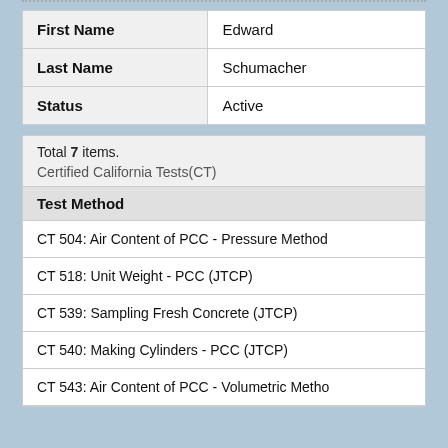|  |  |
| --- | --- |
| First Name | Edward |
| Last Name | Schumacher |
| Status | Active |
Total 7 items.
Certified California Tests(CT)
| Test Method |
| --- |
| CT 504: Air Content of PCC - Pressure Method |
| CT 518: Unit Weight - PCC (JTCP) |
| CT 539: Sampling Fresh Concrete (JTCP) |
| CT 540: Making Cylinders - PCC (JTCP) |
| CT 543: Air Content of PCC - Volumetric Method |